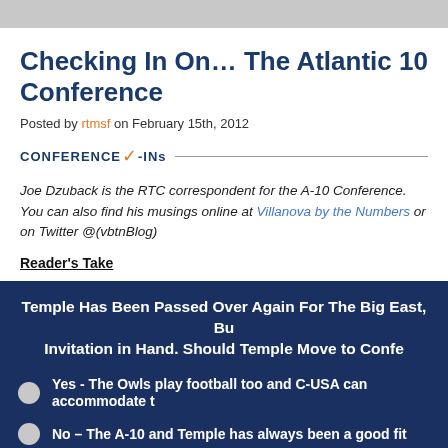Checking In On… The Atlantic 10 Conference
Posted by rtmsf on February 15th, 2012
CONFERENCE ✓-INs
Joe Dzuback is the RTC correspondent for the A-10 Conference. You can also find his musings online at Villanova by the Numbers or on Twitter @(vbtnBlog)
Reader's Take
Temple Has Been Passed Over Again For The Big East, But Has a C-USA Invitation in Hand. Should Temple Move to Conference USA?
Yes - The Owls play football too and C-USA can accommodate them
No – The A-10 and Temple has always been a good fit
Not sure – Do they have an invitation (read below)?
Football? - I didn't know Temple was a big soccer school
Vote  View Results  Crowdsignal.com